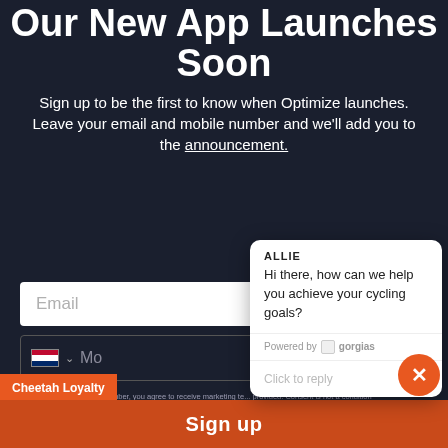Our New App Launches Soon
Sign up to be the first to know when Optimize launches. Leave your email and mobile number and we'll add you to the announcement.
[Figure (screenshot): Email input field with placeholder text 'Email']
[Figure (screenshot): Mobile number input field with US flag, dropdown arrow, and 'Mo' placeholder text]
[Figure (screenshot): Chat widget from Gorgias showing agent ALLIE with message 'Hi there, how can we help you achieve your cycling goals?' and 'Click to reply' input area, powered by gorgias]
By entering your phone number, you agree to receive marketing te... provided. Consent is not a condition of any purchase. Message and data rates may apply. Message frequency varies. You can unsubscribe at any time by replying STOP or clicking the unsubscribe link (where available) in one of our messages. View our Privacy Policy and Terms of Service
[Figure (infographic): Orange close (X) button circle]
Cheetah Loyalty
Sign up